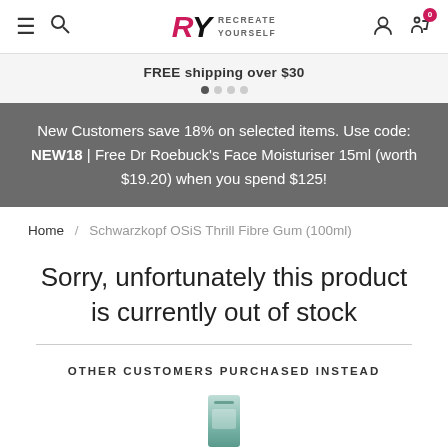RY RECREATE YOURSELF — navigation header with hamburger menu, search, logo, user icon, cart (0)
FREE shipping over $30
New Customers save 18% on selected items. Use code: NEW18 | Free Dr Roebuck's Face Moisturiser 15ml (worth $19.20) when you spend $125!
Home / Schwarzkopf OSiS Thrill Fibre Gum (100ml)
Sorry, unfortunately this product is currently out of stock
OTHER CUSTOMERS PURCHASED INSTEAD
[Figure (photo): Product image partially visible at bottom of page]